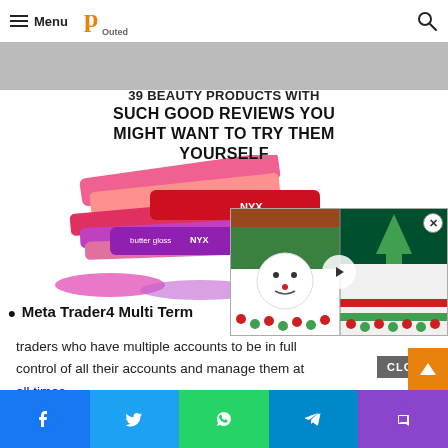Menu | Outed (logo)
[Figure (photo): Beauty products image with colorful lip products stacked — pinks, reds, purples — NYX brand visible]
39 BEAUTY PRODUCTS WITH SUCH GOOD REVIEWS YOU MIGHT WANT TO TRY THEM YOURSELF
[Figure (photo): Video overlay showing two Christmas cakes side by side with snowman decoration and green/red decorations, with play button in center and close (X) button]
Meta Trader4 Multi Ter…
traders who have multiple accounts to be in full control of all their accounts and manage them at all times.
Facebook | Twitter | WhatsApp | Telegram | Phone — social sharing bar